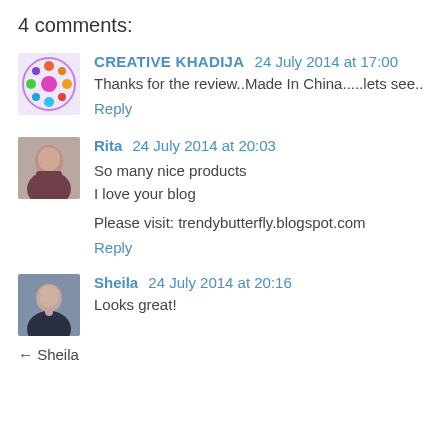4 comments:
CREATIVE KHADIJA 24 July 2014 at 17:00
Thanks for the review..Made In China.....lets see..
Reply
Rita 24 July 2014 at 20:03
So many nice products
I love your blog

Please visit: trendybutterfly.blogspot.com
Reply
Sheila 24 July 2014 at 20:16
Looks great!
← Sheila